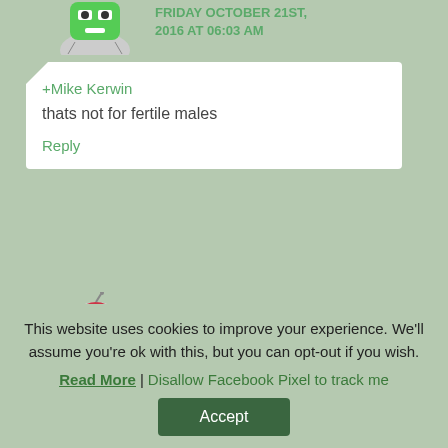FRIDAY OCTOBER 21ST, 2016 AT 06:03 AM
[Figure (illustration): Green cartoon robot avatar (top, partially visible)]
+Mike Kerwin
thats not for fertile males
Reply
[Figure (illustration): Red cartoon character with shovel avatar (Sophie Wrobel)]
SOPHIE WROBEL
This website uses cookies to improve your experience. We'll assume you're ok with this, but you can opt-out if you wish.
Read More | Disallow Facebook Pixel to track me
Accept